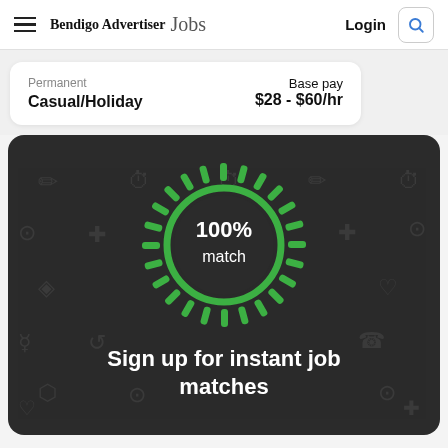Bendigo Advertiser Jobs  Login
Permanent
Casual/Holiday
Base pay
$28 - $60/hr
[Figure (infographic): Dark rounded card with a glowing green sunburst circle showing '100% match' in the center, with faint job-category icons in the background]
Sign up for instant job matches